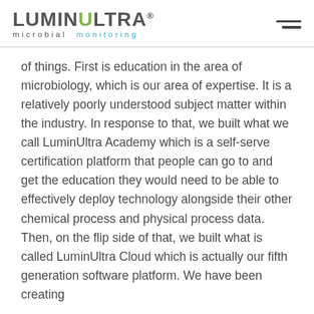LUMINULTRA microbial monitoring
of things. First is education in the area of microbiology, which is our area of expertise. It is a relatively poorly understood subject matter within the industry. In response to that, we built what we call LuminUltra Academy which is a self-serve certification platform that people can go to and get the education they would need to be able to effectively deploy technology alongside their other chemical process and physical process data. Then, on the flip side of that, we built what is called LuminUltra Cloud which is actually our fifth generation software platform. We have been creating